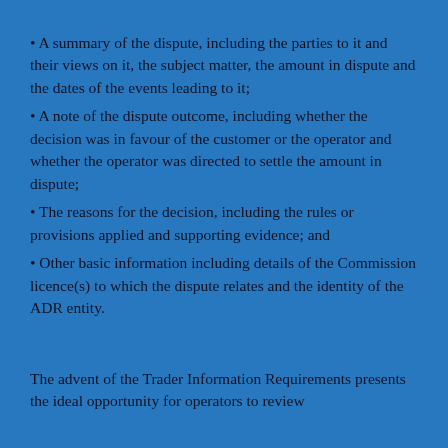• A summary of the dispute, including the parties to it and their views on it, the subject matter, the amount in dispute and the dates of the events leading to it;
• A note of the dispute outcome, including whether the decision was in favour of the customer or the operator and whether the operator was directed to settle the amount in dispute;
• The reasons for the decision, including the rules or provisions applied and supporting evidence; and
• Other basic information including details of the Commission licence(s) to which the dispute relates and the identity of the ADR entity.
The advent of the Trader Information Requirements presents the ideal opportunity for operators to review